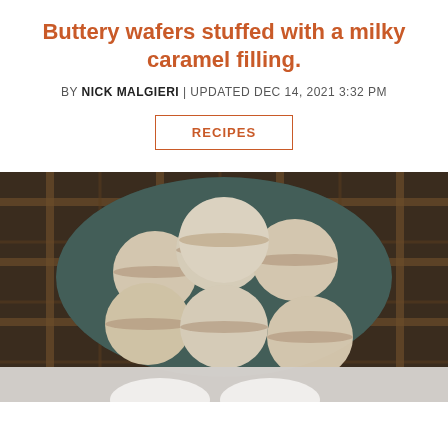Buttery wafers stuffed with a milky caramel filling.
BY NICK MALGIERI | UPDATED DEC 14, 2021 3:32 PM
RECIPES
[Figure (photo): Overhead view of round sandwich cookies dusted with powdered sugar arranged on a dark teal plate, set on a brown and orange plaid textile background. Additional plain white cookies visible at the bottom of the frame.]